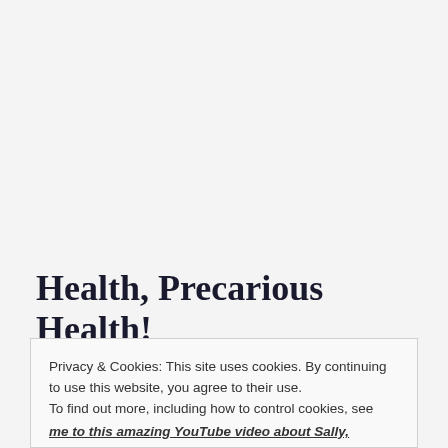Health, Precarious Health!
Privacy & Cookies: This site uses cookies. By continuing to use this website, you agree to their use.
To find out more, including how to control cookies, see here:
Cookie Policy
Close and accept
me to this amazing YouTube video about Sally,